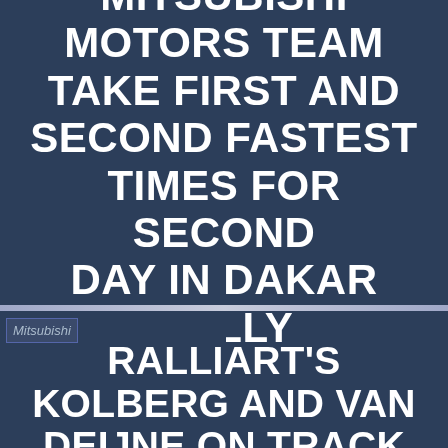MITSUBISHI MOTORS TEAM TAKE FIRST AND SECOND FASTEST TIMES FOR SECOND DAY IN DAKAR RALLY
[Figure (logo): Mitsubishi logo placeholder image]
RALLIART'S KOLBERG AND VAN DEIJNE ON TRACK